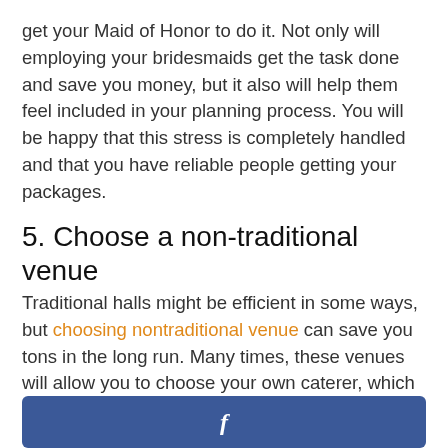get your Maid of Honor to do it. Not only will employing your bridesmaids get the task done and save you money, but it also will help them feel included in your planning process. You will be happy that this stress is completely handled and that you have reliable people getting your packages.
5. Choose a non-traditional venue
Traditional halls might be efficient in some ways, but choosing nontraditional venue can save you tons in the long run. Many times, these venues will allow you to choose your own caterer, which can save thousands in the long run. Each city is different, so that means thinking outside the box for your venue is different in
[Figure (other): Facebook share button bar (blue rectangle with white 'f' icon)]